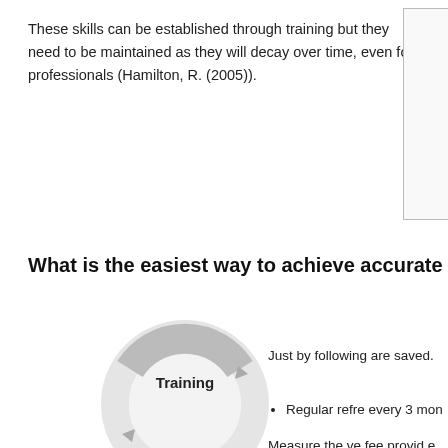These skills can be established through training but they need to be maintained as they will decay over time, even for professionals (Hamilton, R. (2005)).
What is the easiest way to achieve accurate QCPR?
Just by following are saved.
[Figure (illustration): Circular diagram showing a cycle with 'Training' label visible at the top segment, with arrows indicating a continuous cycle.]
Regular refre every 3 mon
Measure the ve fee provid e thes rapy emen
About cookies

By clicking "Accept All Cookies", you agree to the storing of cookies on your device to enhance site navigation, analyze site usage, and assist in our marketing efforts.